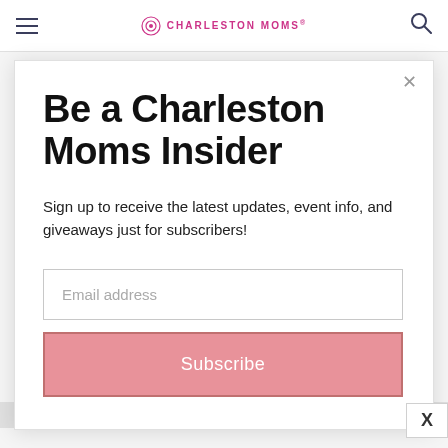Charleston Moms
Be a Charleston Moms Insider
Sign up to receive the latest updates, event info, and giveaways just for subscribers!
Email address
Subscribe